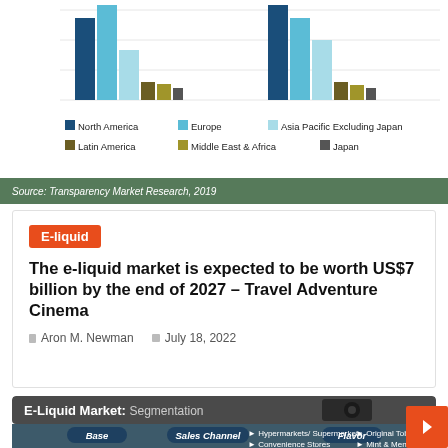[Figure (grouped-bar-chart): E-liquid market by region]
Source: Transparency Market Research, 2019
E-liquid
The e-liquid market is expected to be worth US$7 billion by the end of 2027 – Travel Adventure Cinema
Aron M. Newman   July 18, 2022
[Figure (infographic): E-Liquid Market: Segmentation infographic showing Base, Sales Channel (Hypermarkets/Supermarkets, Convenience Stores, Specialty Stores) and Flavor (Original Tobacco, Mint & Menthol, Fruits & Candy) columns]